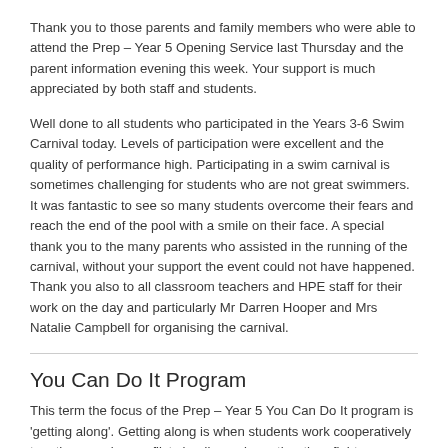Thank you to those parents and family members who were able to attend the Prep – Year 5 Opening Service last Thursday and the parent information evening this week. Your support is much appreciated by both staff and students.
Well done to all students who participated in the Years 3-6 Swim Carnival today. Levels of participation were excellent and the quality of performance high. Participating in a swim carnival is sometimes challenging for students who are not great swimmers. It was fantastic to see so many students overcome their fears and reach the end of the pool with a smile on their face. A special thank you to the many parents who assisted in the running of the carnival, without your support the event could not have happened. Thank you also to all classroom teachers and HPE staff for their work on the day and particularly Mr Darren Hooper and Mrs Natalie Campbell for organising the carnival.
You Can Do It Program
This term the focus of the Prep – Year 5 You Can Do It program is 'getting along'. Getting along is when students work cooperatively together, resolve conflicts by discussion rather than fights, manage